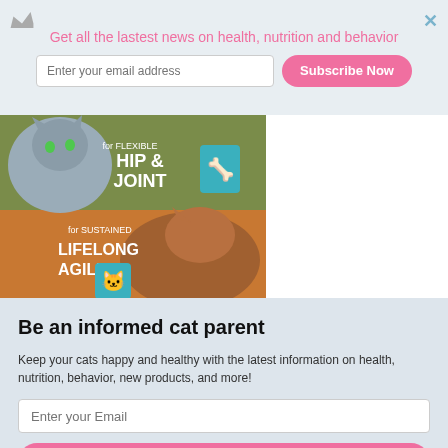Get all the lastest news on health, nutrition and behavior
[Figure (screenshot): Newsletter subscription top bar with crown icon, email input field, and pink Subscribe Now button]
[Figure (photo): Cat food advertisement: top half shows gray cat with text 'for FLEXIBLE HIP & JOINT' on olive green background with joint icon; bottom half shows brown cat with text 'for SUSTAINED LIFELONG AGILITY' on orange background with agility icon]
Be an informed cat parent
Keep your cats happy and healthy with the latest information on health, nutrition, behavior, new products, and more!
Enter your Email
Subscribe Now